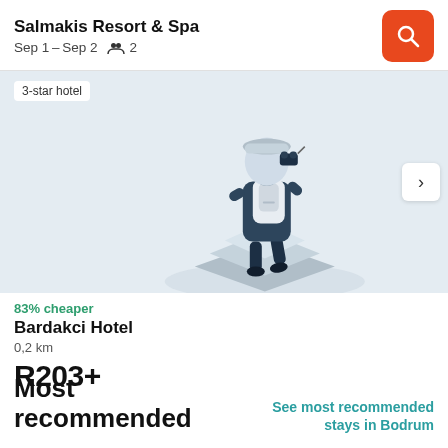Salmakis Resort & Spa
Sep 1 – Sep 2   2
[Figure (screenshot): Hotel search app UI with orange search button in header]
3-star hotel
[Figure (illustration): Isometric illustration of a person with a backpack and camera on a geometric platform, light blue-grey color scheme]
83% cheaper
Bardakci Hotel
0,2 km
R203+
Most recommended
See most recommended stays in Bodrum